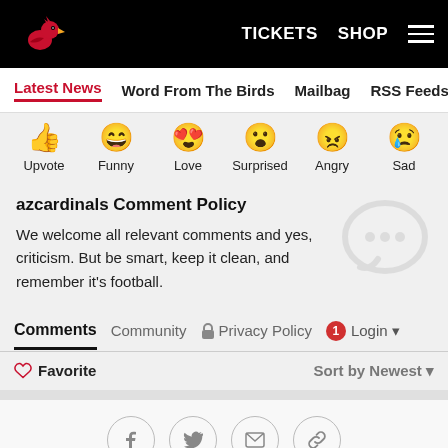Arizona Cardinals website header with logo, TICKETS, SHOP, and hamburger menu
Latest News | Word From The Birds | Mailbag | RSS Feeds | Carde
[Figure (infographic): Emoji reaction row with icons for Upvote, Funny, Love, Surprised, Angry, Sad]
azcardinals Comment Policy
We welcome all relevant comments and yes, criticism. But be smart, keep it clean, and remember it's football.
Comments | Community | Privacy Policy | 1 | Login
Favorite | Sort by Newest
[Figure (infographic): Social share buttons: Facebook, Twitter, Email, Link]